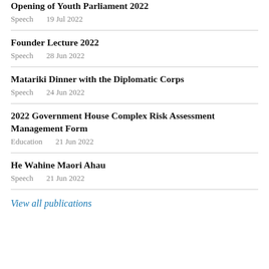Opening of Youth Parliament 2022
Speech   19 Jul 2022
Founder Lecture 2022
Speech   28 Jun 2022
Matariki Dinner with the Diplomatic Corps
Speech   24 Jun 2022
2022 Government House Complex Risk Assessment Management Form
Education   21 Jun 2022
He Wahine Maori Ahau
Speech   21 Jun 2022
View all publications